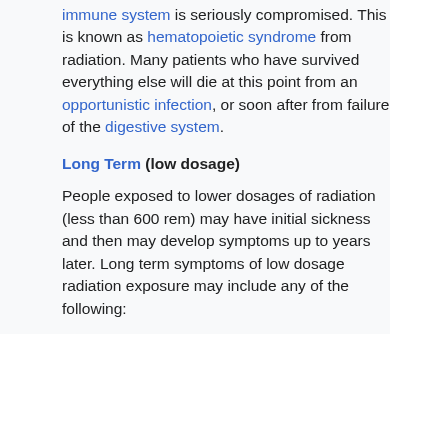immune system is seriously compromised. This is known as hematopoietic syndrome from radiation. Many patients who have survived everything else will die at this point from an opportunistic infection, or soon after from failure of the digestive system.
Long Term (low dosage)
People exposed to lower dosages of radiation (less than 600 rem) may have initial sickness and then may develop symptoms up to years later. Long term symptoms of low dosage radiation exposure may include any of the following: